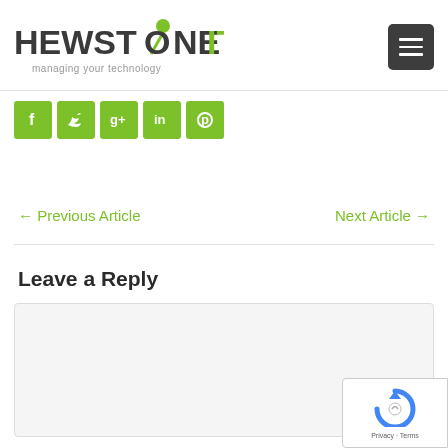[Figure (logo): Hewstone IT logo with green dot and connector icon, tagline: managing your technology]
[Figure (infographic): Social media icons bar: Facebook, Twitter, Google+, LinkedIn, Pinterest - all in green]
← Previous Article
Next Article →
Leave a Reply
[Figure (screenshot): Empty reply text area input box with light grey background]
[Figure (other): reCAPTCHA badge with Privacy and Terms text]